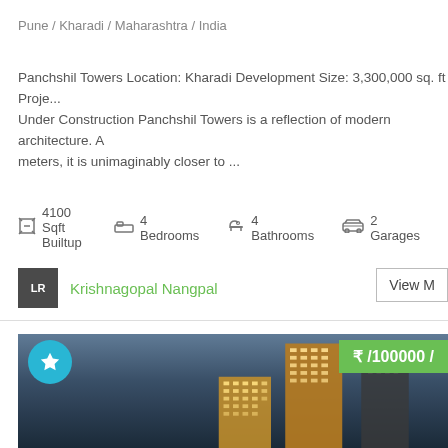Pune / Kharadi / Maharashtra / India
Panchshil Towers Location: Kharadi Development Size: 3,300,000 sq. ft Proje... Under Construction Panchshil Towers is a reflection of modern architecture. A meters, it is unimaginably closer to ...
4100 Sqft Builtup
4 Bedrooms
4 Bathrooms
2 Garages
Krishnagopal Nangpal
View M
[Figure (photo): Building exterior photo of Panchshil Towers, illuminated high-rise towers against a twilight sky, with a price badge showing ₹/100000/ and a teal star badge]